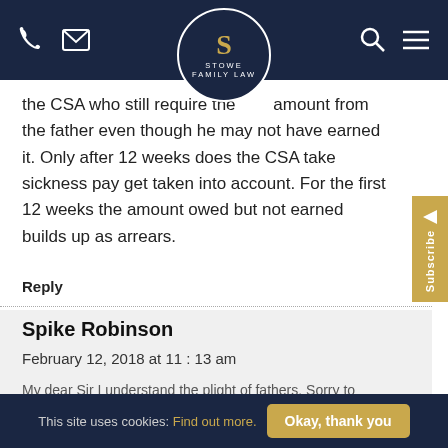Stowe Family Law — navigation bar with logo
the CSA who still require the full amount from the father even though he may not have earned it. Only after 12 weeks does the CSA take sickness pay get taken into account. For the first 12 weeks the amount owed but not earned builds up as arrears.
Reply
Spike Robinson
February 12, 2018 at 11:13 am
This site uses cookies: Find out more. Okay, thank you